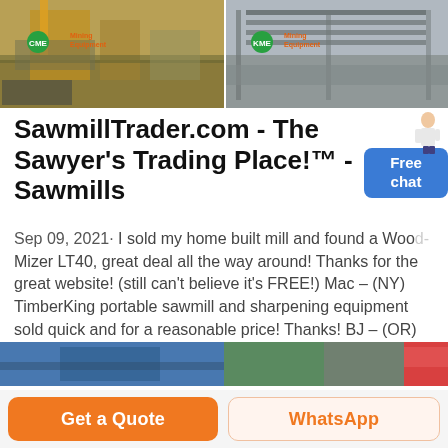[Figure (photo): Two side-by-side photos of industrial/construction equipment and machinery at an outdoor site, each with a green KME/CME logo overlay]
SawmillTrader.com - The Sawyer's Trading Place!™ - Sawmills
Sep 09, 2021· I sold my home built mill and found a Wood-Mizer LT40, great deal all the way around! Thanks for the great website! (still can't believe it's FREE!) Mac – (NY) TimberKing portable sawmill and sharpening equipment sold quick and for a reasonable price! Thanks! BJ – (OR) Thanks so much for helping me sell my Cooks Portable Band Sawmill.
[Figure (photo): Bottom partial image strip showing equipment/industrial scene with blue, green, and red tones]
Get a Quote
WhatsApp